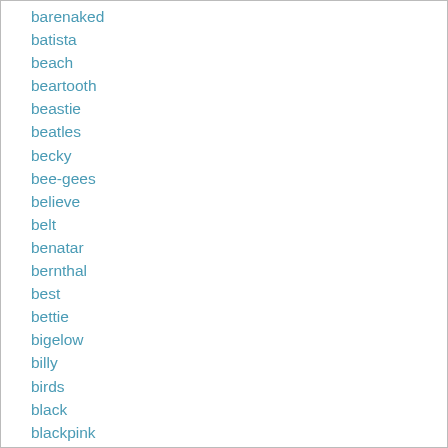barenaked
batista
beach
beartooth
beastie
beatles
becky
bee-gees
believe
belt
benatar
bernthal
best
bettie
bigelow
billy
birds
black
blackpink
blakcpink
blaze
blondie
blues